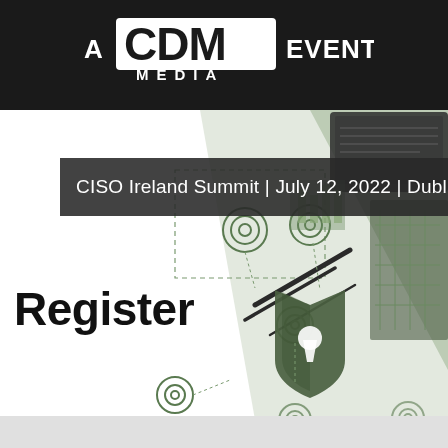A CDM MEDIA EVENT
MENU
CISO Ireland Summit | July 12, 2022 | Dublin, Ireland
[Figure (illustration): Cybersecurity themed illustration with green security shield with keyhole, concentric target circles, diagonal lines, and a laptop/circuit board in the background]
Register